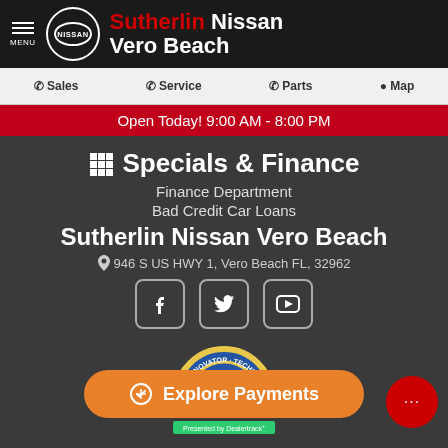Sutherlin Nissan Vero Beach
Sales  Service  Parts  Map
Open Today! 9:00 AM - 8:00 PM
Specials & Finance
Finance Department
Bad Credit Car Loans
Sutherlin Nissan Vero Beach
946 S US HWY 1, Vero Beach FL, 32962
[Figure (other): Social media icons: Facebook, Twitter, YouTube]
[Figure (logo): Innovator Technology badge/seal, partially visible]
Explore Payments
[Figure (other): Chat bubble button with ellipsis]